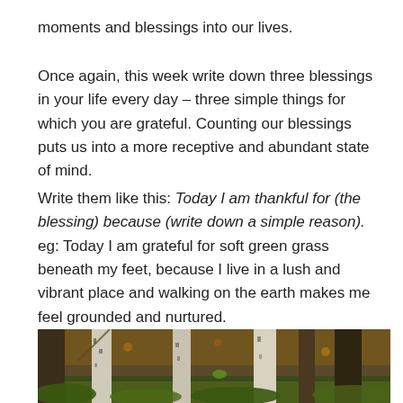moments and blessings into our lives.
Once again, this week write down three blessings in your life every day – three simple things for which you are grateful. Counting our blessings puts us into a more receptive and abundant state of mind.
Write them like this: Today I am thankful for (the blessing) because (write down a simple reason). eg: Today I am grateful for soft green grass beneath my feet, because I live in a lush and vibrant place and walking on the earth makes me feel grounded and nurtured.
[Figure (photo): A forest scene showing birch and dark tree trunks with moss-covered ground and autumn leaves in the background.]